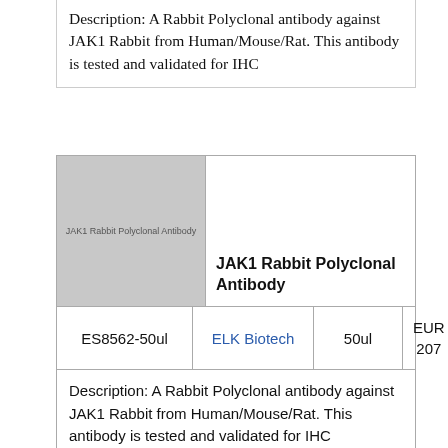Description: A Rabbit Polyclonal antibody against JAK1 Rabbit from Human/Mouse/Rat. This antibody is tested and validated for IHC
[Figure (photo): Product image placeholder for JAK1 Rabbit Polyclonal Antibody, gray square with text label]
JAK1 Rabbit Polyclonal Antibody
|  | Brand | Size | Price |
| --- | --- | --- | --- |
| ES8562-50ul | ELK Biotech | 50ul | EUR 207 |
Description: A Rabbit Polyclonal antibody against JAK1 Rabbit from Human/Mouse/Rat. This antibody is tested and validated for IHC